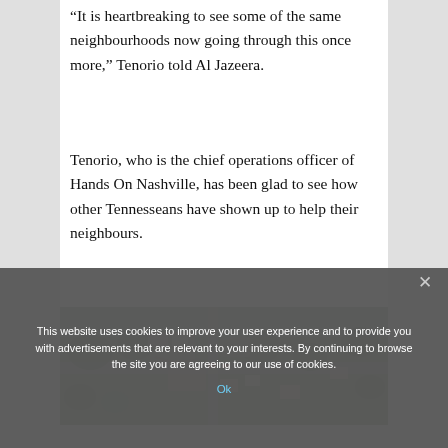“It is heartbreaking to see some of the same neighbourhoods now going through this once more,” Tenorio told Al Jazeera.
Tenorio, who is the chief operations officer of Hands On Nashville, has been glad to see how other Tennesseans have shown up to help their neighbours.
[Figure (photo): Aerial photograph of a Nashville neighbourhood showing tornado damage, with debris and damaged structures visible along a street lined with trees.]
This website uses cookies to improve your user experience and to provide you with advertisements that are relevant to your interests. By continuing to browse the site you are agreeing to our use of cookies.